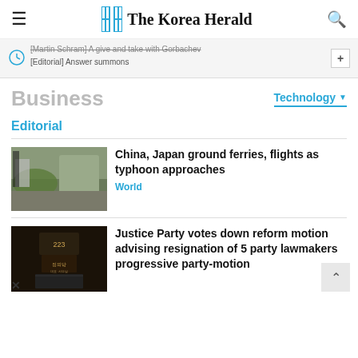The Korea Herald
[Martin Schram] A give and take with Gorbachev
[Editorial] Answer summons
Business
Technology ▼
Editorial
China, Japan ground ferries, flights as typhoon approaches
World
Justice Party votes down reform motion advising resignation of 5 party lawmakers progressive party-motion